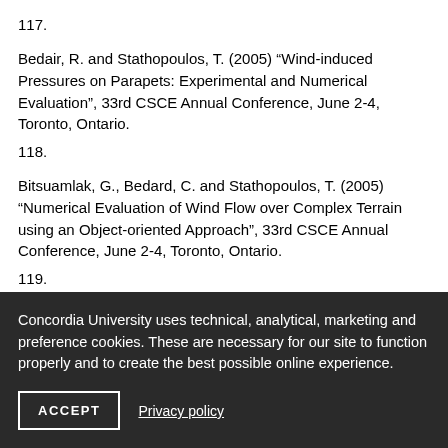117.
Bedair, R. and Stathopoulos, T. (2005) “Wind-induced Pressures on Parapets: Experimental and Numerical Evaluation”, 33rd CSCE Annual Conference, June 2-4, Toronto, Ontario.
118.
Bitsuamlak, G., Bedard, C. and Stathopoulos, T. (2005) “Numerical Evaluation of Wind Flow over Complex Terrain using an Object-oriented Approach”, 33rd CSCE Annual Conference, June 2-4, Toronto, Ontario.
119.
Bedair, R. and Stathopoulos, T. (2005) “ Numerical Evaluation of Mean
Concordia University uses technical, analytical, marketing and preference cookies. These are necessary for our site to function properly and to create the best possible online experience.